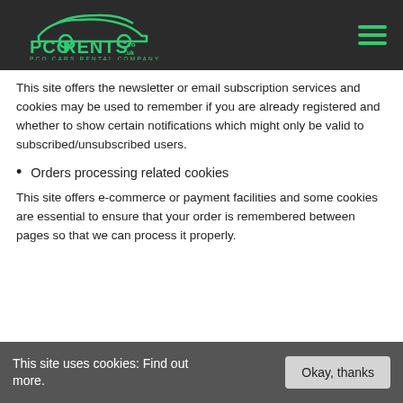PCO RENTS .co.uk PCO CARS RENTAL COMPANY
This site offers the newsletter or email subscription services and cookies may be used to remember if you are already registered and whether to show certain notifications which might only be valid to subscribed/unsubscribed users.
Orders processing related cookies
This site offers e-commerce or payment facilities and some cookies are essential to ensure that your order is remembered between pages so that we can process it properly.
This site uses cookies: Find out more.  Okay, thanks